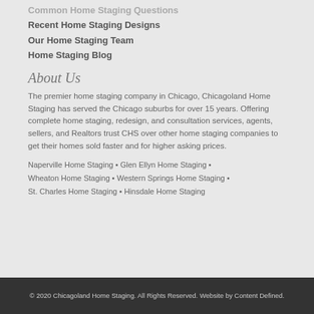Common Home Staging Questions
Recent Home Staging Designs
Our Home Staging Team
Home Staging Blog
About Us
The premier home staging company in Chicago, Chicagoland Home Staging has served the Chicago suburbs for over 15 years. Offering complete home staging, redesign, and consultation services, agents, sellers, and Realtors trust CHS over other home staging companies to get their homes sold faster and for higher asking prices.
Naperville Home Staging • Glen Ellyn Home Staging • Wheaton Home Staging • Western Springs Home Staging • St. Charles Home Staging • Hinsdale Home Staging
© 2020 Chicagoland Home Staging. All Rights Reserved. Website by Content Defined.